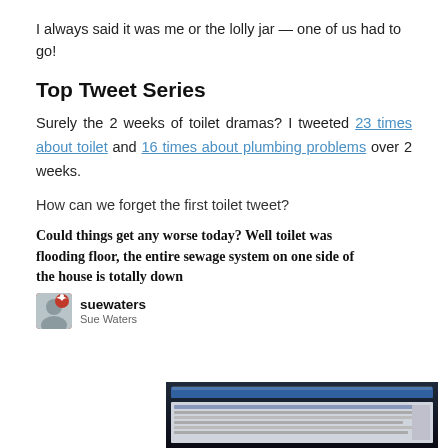I always said it was me or the lolly jar — one of us had to go!
Top Tweet Series
Surely the 2 weeks of toilet dramas? I tweeted 23 times about toilet and 16 times about plumbing problems over 2 weeks.
How can we forget the first toilet tweet?
Could things get any worse today? Well toilet was flooding floor, the entire sewage system on one side of the house is totally down
— suewaters / Sue Waters
[Figure (screenshot): A dark screenshot of a computer monitor showing a web browser window]